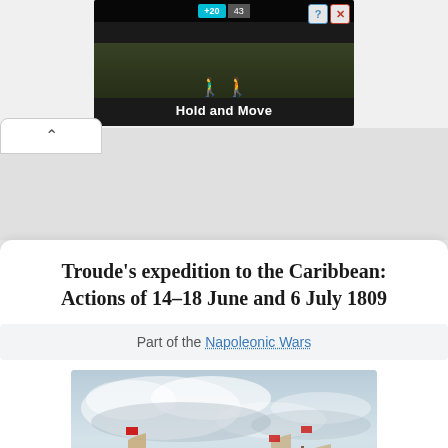[Figure (screenshot): Advertisement banner showing a dark game-like ad with 'Hold and Move' text, score indicators, tree silhouette background, and close/help buttons. Positioned at top of page.]
Troude's expedition to the Caribbean: Actions of 14–18 June and 6 July 1809
Part of the Napoleonic Wars
[Figure (illustration): Historical naval painting showing sailing warships on the sea under a cloudy sky, with masts and sails visible. Appears to be a period painting of Napoleonic-era naval vessels.]